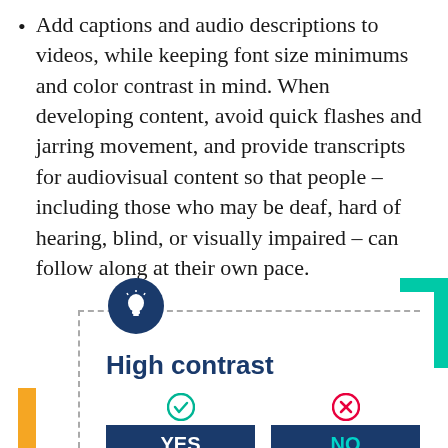Add captions and audio descriptions to videos, while keeping font size minimums and color contrast in mind. When developing content, avoid quick flashes and jarring movement, and provide transcripts for audiovisual content so that people – including those who may be deaf, hard of hearing, blind, or visually impaired – can follow along at their own pace.
[Figure (infographic): High contrast infographic showing a dashed-border box with a dark blue circle lightbulb icon at top, 'High contrast' title in dark blue bold text, with two columns: YES column (green checkmark, dark blue YES box, teal HI box) and NO column (red X icon, dark blue NO box with teal text, teal BYE box with orange text). Teal corner bracket at top-right, yellow bar at bottom-left.]